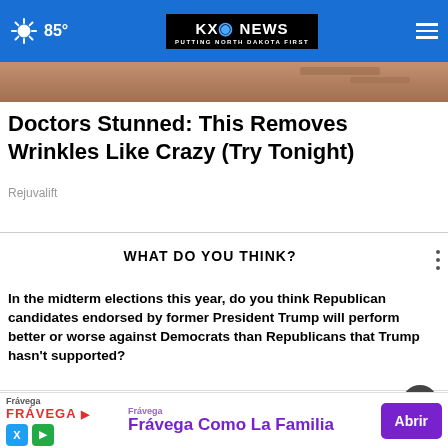85° KXO NEWS PUTTING NORTH DAKOTA FIRST
[Figure (photo): Partial image of a face, cropped at top]
Doctors Stunned: This Removes Wrinkles Like Crazy (Try Tonight)
Rejuvalift
WHAT DO YOU THINK?
In the midterm elections this year, do you think Republican candidates endorsed by former President Trump will perform better or worse against Democrats than Republicans that Trump hasn't supported?
Much better
Somewhat better
About the same
[Figure (screenshot): Frávega advertisement banner: 'Frávega Como La Familia' with Abrir button]